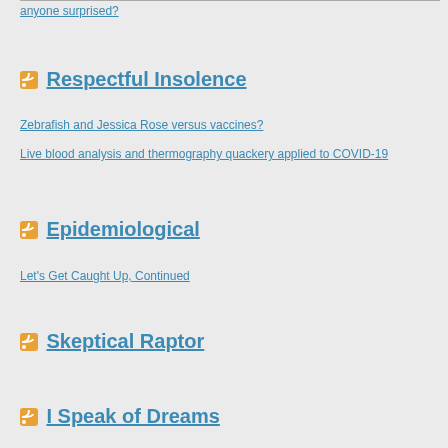anyone surprised?
Respectful Insolence
Zebrafish and Jessica Rose versus vaccines?
Live blood analysis and thermography quackery applied to COVID-19
Epidemiological
Let's Get Caught Up, Continued
Skeptical Raptor
I Speak of Dreams